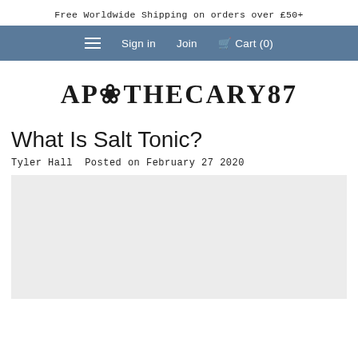Free Worldwide Shipping on orders over £50+
≡  Sign in  Join  🛒  Cart (0)
[Figure (logo): Apothecary87 brand logo in bold serif uppercase letters]
What Is Salt Tonic?
Tyler Hall  Posted on February 27 2020
[Figure (photo): Article featured image placeholder (light grey background)]